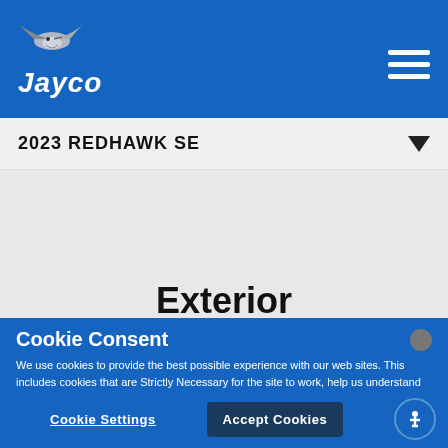Jayco
2023 REDHAWK SE
Exterior
Cookie Consent
We use cookies to provide the best possible experience with our web sites. This includes cookies that are Strictly Necessary for the site to work, help us understand site usage, help manage your preferences, and deliver advertising relevant to your interests. You can update the behavior of our cookies by selecting “Cookie Settings.”
Cookie Settings
Accept Cookies